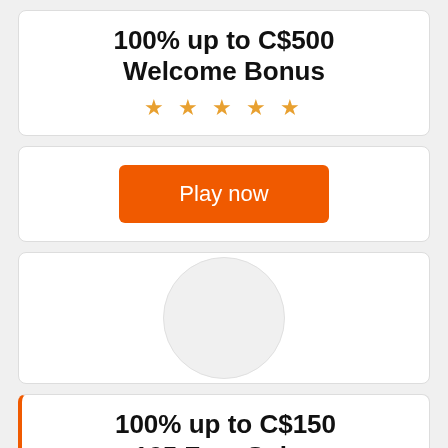100% up to C$500 Welcome Bonus
★ ★ ★ ★ ★
Play now
[Figure (other): Circular logo placeholder, light gray circle on white background]
100% up to C$150 125 Free Spins
★ ★ ★ ★ ★
Play now (partially visible)